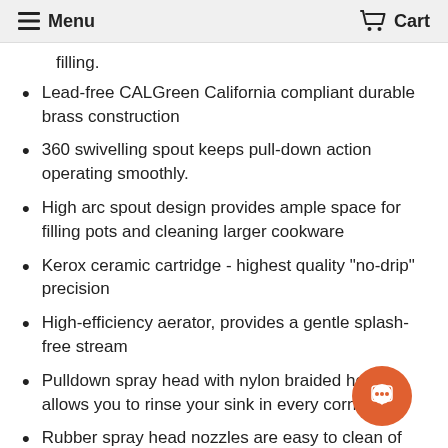≡ Menu   🛒 Cart
filling.
Lead-free CALGreen California compliant durable brass construction
360 swivelling spout keeps pull-down action operating smoothly.
High arc spout design provides ample space for filling pots and cleaning larger cookware
Kerox ceramic cartridge - highest quality "no-drip" precision
High-efficiency aerator, provides a gentle splash-free stream
Pulldown spray head with nylon braided hose allows you to rinse your sink in every corner
Rubber spray head nozzles are easy to clean of